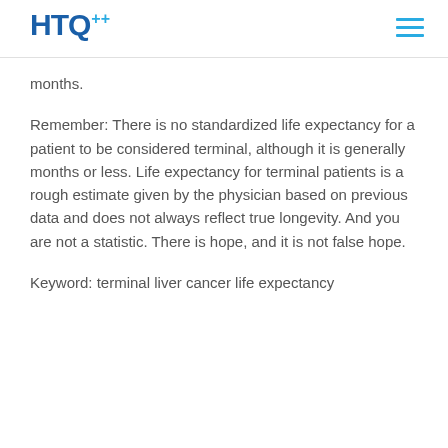HTQ
months.
Remember: There is no standardized life expectancy for a patient to be considered terminal, although it is generally months or less. Life expectancy for terminal patients is a rough estimate given by the physician based on previous data and does not always reflect true longevity. And you are not a statistic. There is hope, and it is not false hope.
Keyword: terminal liver cancer life expectancy